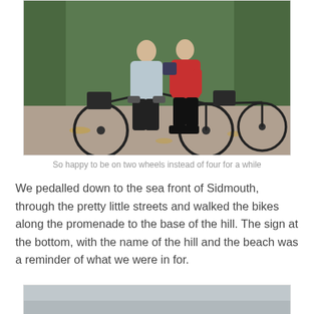[Figure (photo): Two cyclists standing with loaded touring bikes on a gravel path surrounded by green trees. One person wears a light grey jacket, the other a red jacket.]
So happy to be on two wheels instead of four for a while
We pedalled down to the sea front of Sidmouth, through the pretty little streets and walked the bikes along the promenade to the base of the hill. The sign at the bottom, with the name of the hill and the beach was a reminder of what we were in for.
[Figure (photo): Partial view of a second photo showing a grey overcast sky or coastal scene.]